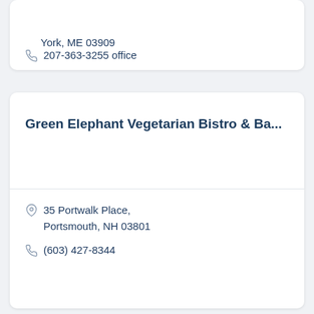York, ME 03909
207-363-3255 office
Green Elephant Vegetarian Bistro & Ba...
35 Portwalk Place, Portsmouth, NH 03801
(603) 427-8344